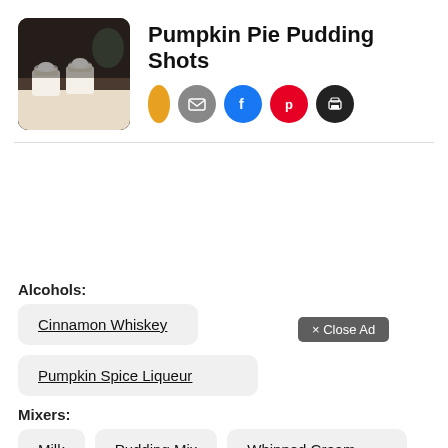[Figure (photo): Photo of pumpkin pie pudding shots in small cups on a counter]
Pumpkin Pie Pudding Shots
[Figure (infographic): Social share icons: yellow oval, email, facebook, pinterest, print]
Alcohols:
Cinnamon Whiskey
Pumpkin Spice Liqueur
Mixers:
Milk
Pudding Mix
Whipped Cream
× Close Ad
Category: